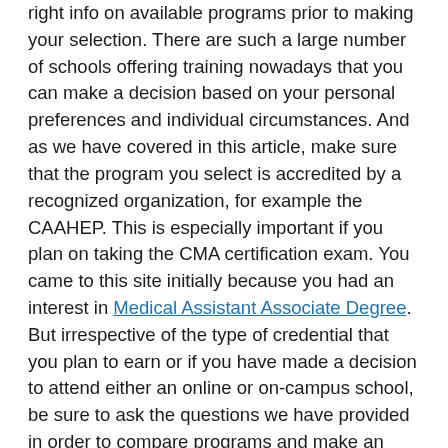assistance as your life long career, you need to acquire the right info on available programs prior to making your selection. There are such a large number of schools offering training nowadays that you can make a decision based on your personal preferences and individual circumstances. And as we have covered in this article, make sure that the program you select is accredited by a recognized organization, for example the CAAHEP. This is especially important if you plan on taking the CMA certification exam. You came to this site initially because you had an interest in Medical Assistant Associate Degree. But irrespective of the type of credential that you plan to earn or if you have made a decision to attend either an online or on-campus school, be sure to ask the questions we have provided in order to compare programs and make an informed decision. And by selecting the right program you can subsequently start a rewarding career as a medical assistant in Lopez Island WA.